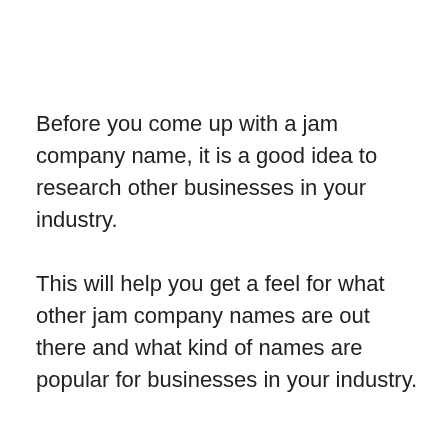Before you come up with a jam company name, it is a good idea to research other businesses in your industry.
This will help you get a feel for what other jam company names are out there and what kind of names are popular for businesses in your industry.